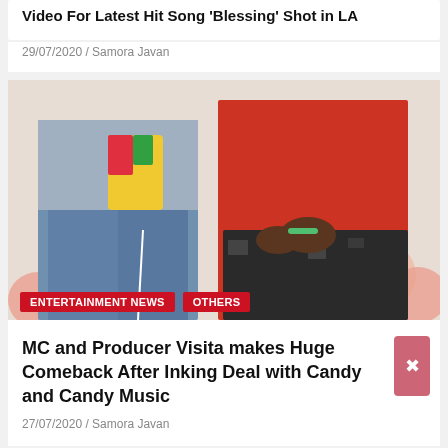Video For Latest Hit Song 'Blessing' Shot in LA
29/07/2020 / Samora Javan
[Figure (photo): Two men standing in front of balloons: one wearing a colorful jacket with a yellow bag, the other in a red sweater and dark patterned shorts]
ENTERTAINMENT NEWS   OTHERS
MC and Producer Visita makes Huge Comeback After Inking Deal with Candy and Candy Music
27/07/2020 / Samora Javan